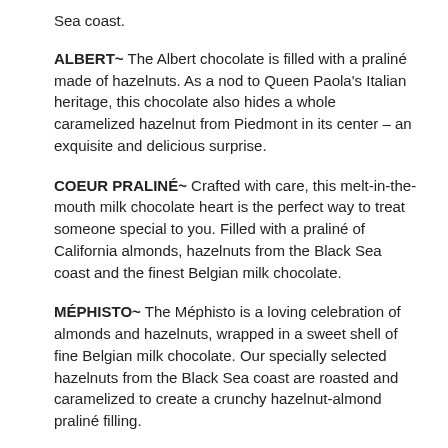Sea coast.
ALBERT~ The Albert chocolate is filled with a praliné made of hazelnuts. As a nod to Queen Paola's Italian heritage, this chocolate also hides a whole caramelized hazelnut from Piedmont in its center – an exquisite and delicious surprise.
COEUR PRALINÉ~ Crafted with care, this melt-in-the-mouth milk chocolate heart is the perfect way to treat someone special to you. Filled with a praliné of California almonds, hazelnuts from the Black Sea coast and the finest Belgian milk chocolate.
MÉPHISTO~ The Méphisto is a loving celebration of almonds and hazelnuts, wrapped in a sweet shell of fine Belgian milk chocolate. Our specially selected hazelnuts from the Black Sea coast are roasted and caramelized to create a crunchy hazelnut-almond praliné filling.
NAPOLÉONETTE~ The Napoléonette is a carefully balanced milk chocolate praline that brings together the familiar earthy satisfaction of Arabica coffee and the rich, nutty notes of praliné. The nuts used by our Maîtres Chocolatiers to make the